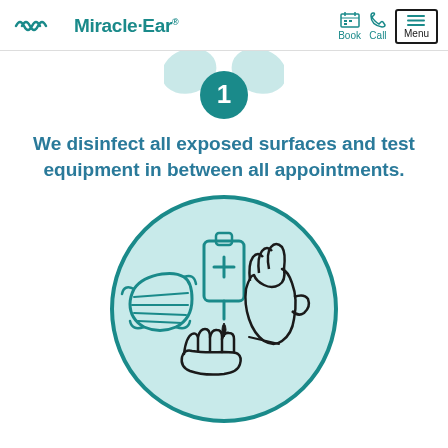Miracle-Ear | Book | Call | Menu
[Figure (illustration): Step 1 circle indicator with teal background showing number 1]
We disinfect all exposed surfaces and test equipment in between all appointments.
[Figure (illustration): Circular teal illustration showing a face mask, hand sanitizer dispenser with hands receiving sanitizer, and a medical glove]